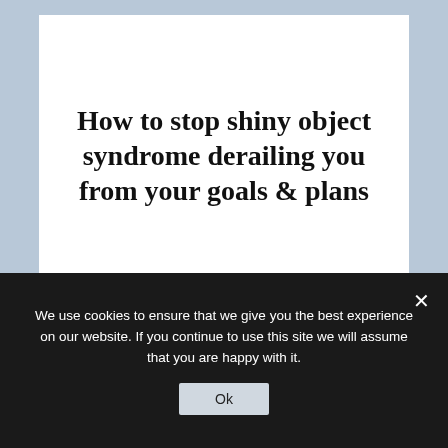[Figure (illustration): Blog post header image with light blue background and white card containing serif title text: 'How to stop shiny object syndrome derailing you from your goals & plans', with a small decorative logo/signature at the bottom of the card.]
You've got plans.
We use cookies to ensure that we give you the best experience on our website. If you continue to use this site we will assume that you are happy with it.